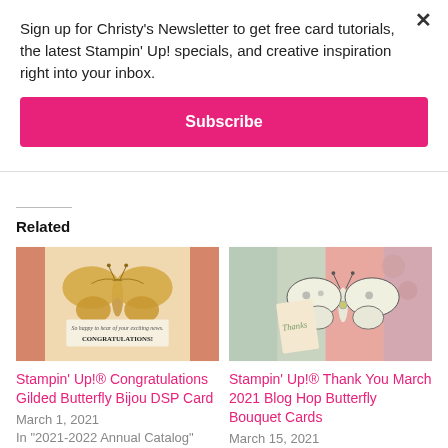Sign up for Christy's Newsletter to get free card tutorials, the latest Stampin' Up! specials, and creative inspiration right into your inbox.
Subscribe
Related
[Figure (photo): Handmade congratulations card with gilded butterfly embellishment and 'CONGRATULATIONS' banner on pink/golden background]
Stampin' Up!® Congratulations Gilded Butterfly Bijou DSP Card
March 1, 2021
In "2021-2022 Annual Catalog"
[Figure (photo): Handmade thank you card with sketch-style butterfly and 'Thanks' tag on pink/sage background]
Stampin' Up!® Thank You March 2021 Blog Hop Butterfly Bouquet Cards
March 15, 2021
In "2020-2021 Annual Catalog"